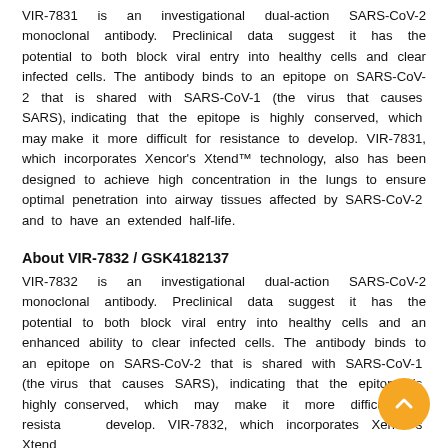VIR-7831 is an investigational dual-action SARS-CoV-2 monoclonal antibody. Preclinical data suggest it has the potential to both block viral entry into healthy cells and clear infected cells. The antibody binds to an epitope on SARS-CoV-2 that is shared with SARS-CoV-1 (the virus that causes SARS), indicating that the epitope is highly conserved, which may make it more difficult for resistance to develop. VIR-7831, which incorporates Xencor's Xtend™ technology, also has been designed to achieve high concentration in the lungs to ensure optimal penetration into airway tissues affected by SARS-CoV-2 and to have an extended half-life.
About VIR-7832 / GSK4182137
VIR-7832 is an investigational dual-action SARS-CoV-2 monoclonal antibody. Preclinical data suggest it has the potential to both block viral entry into healthy cells and an enhanced ability to clear infected cells. The antibody binds to an epitope on SARS-CoV-2 that is shared with SARS-CoV-1 (the virus that causes SARS), indicating that the epitope is highly conserved, which may make it more difficult for resistance to develop. VIR-7832, which incorporates Xencor's Xtend and